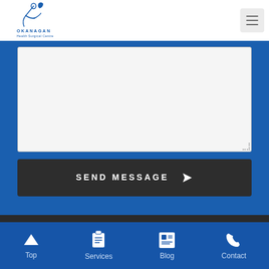[Figure (logo): Okanagan Health Surgical Centre logo with stylized figure and text]
[Figure (screenshot): Hamburger menu button (three horizontal lines) on light gray background]
[Figure (screenshot): Contact form textarea field on blue background]
SEND MESSAGE
Address:
401-3320 Richter St
Top | Services | Blog | Contact